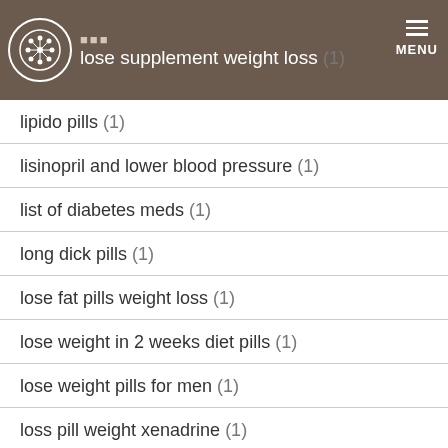lose supplement weight loss (1)
lipido pills (1)
lisinopril and lower blood pressure (1)
list of diabetes meds (1)
long dick pills (1)
lose fat pills weight loss (1)
lose weight in 2 weeks diet pills (1)
lose weight pills for men (1)
loss pill weight xenadrine (1)
Love Hemp Cbd Oil Cancer (1)